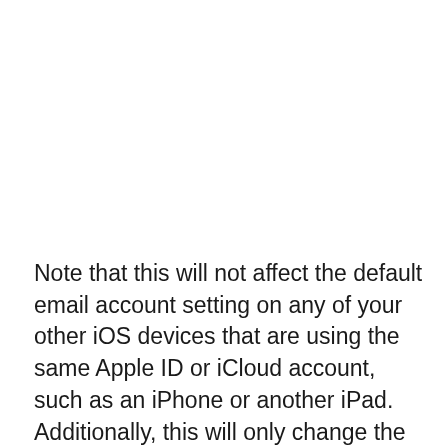Note that this will not affect the default email account setting on any of your other iOS devices that are using the same Apple ID or iCloud account, such as an iPhone or another iPad. Additionally, this will only change the default account for your email. If you also wish to change the default contacts account or